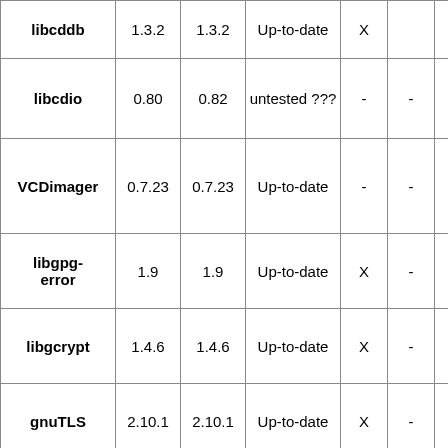| libcddb | 1.3.2 | 1.3.2 | Up-to-date | X |  | X |
| libcdio | 0.80 | 0.82 | untested ??? | - | - | X |
| VCDimager | 0.7.23 | 0.7.23 | Up-to-date | - | - | X |
| libgpg-error | 1.9 | 1.9 | Up-to-date | X | - | X |
| libgcrypt | 1.4.6 | 1.4.6 | Up-to-date | X | - | X |
| gnuTLS | 2.10.1 | 2.10.1 | Up-to-date | X | - | X |